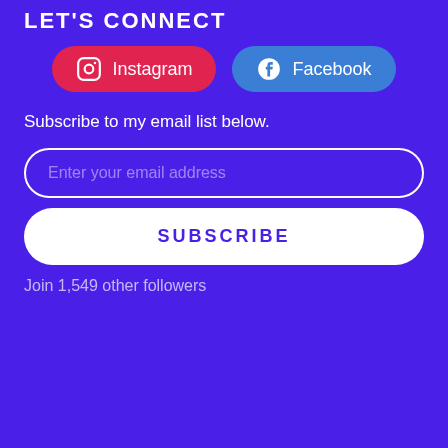LET'S CONNECT
[Figure (infographic): Two social media buttons: Instagram (red/pink button with Instagram icon) and Facebook (blue button with Facebook icon)]
Subscribe to my email list below.
[Figure (infographic): Email input field with placeholder text 'Enter your email address']
[Figure (infographic): White SUBSCRIBE button]
Join 1,549 other followers